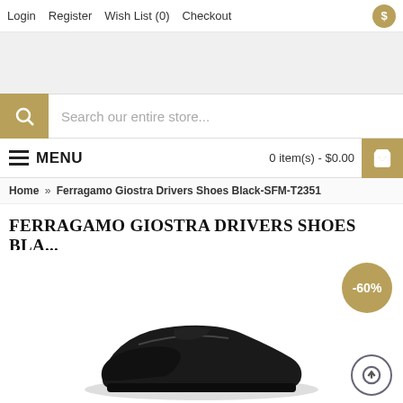Login   Register   Wish List (0)   Checkout   $
[Figure (screenshot): Gray banner placeholder area for logo/advertisement]
Search our entire store...
≡ MENU   0 item(s) - $0.00
Home » Ferragamo Giostra Drivers Shoes Black-SFM-T2351
FERRAGAMO GIOSTRA DRIVERS SHOES BLA...
[Figure (photo): Product photo of black Ferragamo Giostra driver shoes, partially visible at bottom, with -60% discount badge in gold and a back-to-top arrow button]